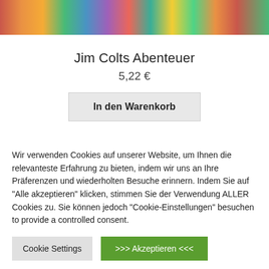[Figure (photo): Colorful product book cover strip image at the top]
Jim Colts Abenteuer
5,22 €
In den Warenkorb
Wir verwenden Cookies auf unserer Website, um Ihnen die relevanteste Erfahrung zu bieten, indem wir uns an Ihre Präferenzen und wiederholten Besuche erinnern. Indem Sie auf "Alle akzeptieren" klicken, stimmen Sie der Verwendung ALLER Cookies zu. Sie können jedoch "Cookie-Einstellungen" besuchen to provide a controlled consent.
Cookie Settings
>>> Akzeptieren <<<